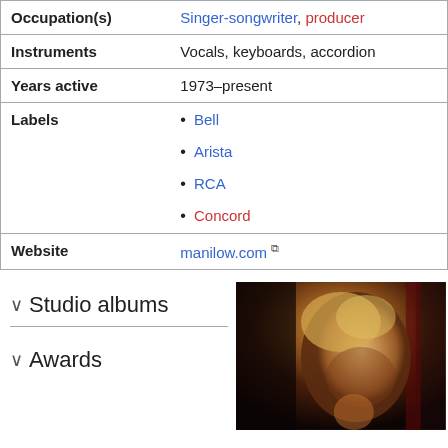| Field | Value |
| --- | --- |
| Occupation(s) | Singer-songwriter, producer |
| Instruments | Vocals, keyboards, accordion |
| Years active | 1973–present |
| Labels | Bell
Arista
RCA
Concord |
| Website | manilow.com |
Studio albums
Awards
[Figure (photo): Photo of a person with curly blonde/light hair, partially lit, dark background with red tones]